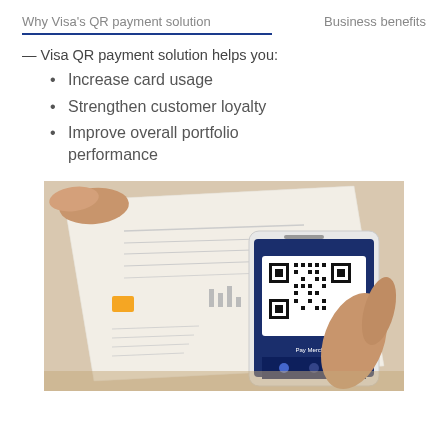Why Visa's QR payment solution    Business benefits
— Visa QR payment solution helps you:
Increase card usage
Strengthen customer loyalty
Improve overall portfolio performance
[Figure (photo): Person holding a smartphone displaying a QR code scanning app pointed at a printed document/bill on a wooden surface. The phone screen shows a Visa QR payment application interface with a QR code.]